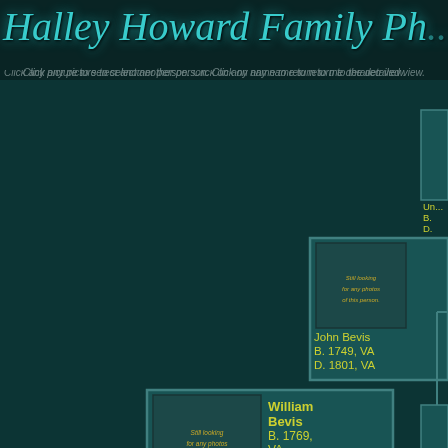Halley Howard Family Ph...
Click any picture to select another person. Click on any name to return to the detailed view.
[Figure (organizational-chart): Genealogical pedigree chart showing family tree with William Bevis (B. 1769, VA, D. 1825, SC), parents John Bevis (B. 1749, VA, D. 1801, VA) and Ann Unknown (B. 1749, VA, D. 1821, SC), and grandparents partially visible on right side. A portrait photo appears at bottom left. All non-photo persons shown with teal placeholder boxes reading 'Still looking for any photos of this person.']